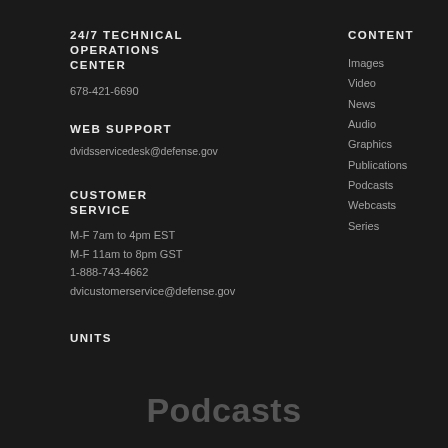24/7 TECHNICAL OPERATIONS CENTER
678-421-6690
WEB SUPPORT
dvidsservicedesk@defense.gov
CUSTOMER SERVICE
M-F 7am to 4pm EST
M-F 11am to 8pm GST
1-888-743-4662
dvicustomerservice@defense.gov
UNITS
CONTENT
Images
Video
News
Audio
Graphics
Publications
Podcasts
Webcasts
Series
FEATURES
Coronavirus Update
DVI Records Center
Podcasts